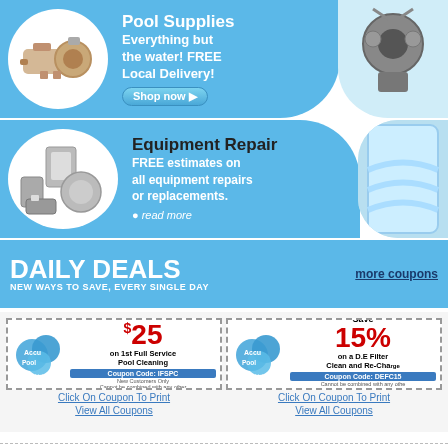Pool Supplies
Everything but the water! FREE Local Delivery!
Equipment Repair
FREE estimates on all equipment repairs or replacements.
DAILY DEALS
NEW WAYS TO SAVE, EVERY SINGLE DAY
more coupons
[Figure (infographic): AccuPool coupon: Save $25 on 1st Full Service Pool Cleaning. Coupon Code: IFSPC]
Click On Coupon To Print
View All Coupons
[Figure (infographic): AccuPool coupon: Save 15% on a D.E Filter Clean and Re-Charge. Coupon Code: DEFC15]
Click On Coupon To Print
View All Coupons